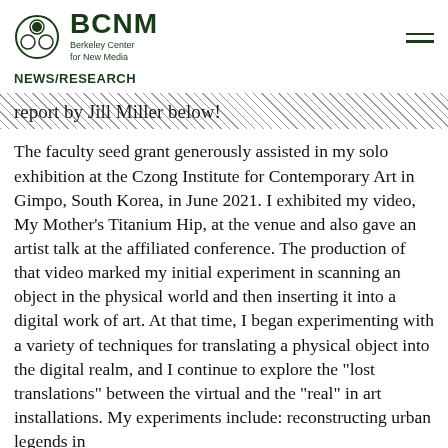BCNM Berkeley Center for New Media
NEWS/RESEARCH
report by Jill Miller below!
The faculty seed grant generously assisted in my solo exhibition at the Czong Institute for Contemporary Art in Gimpo, South Korea, in June 2021. I exhibited my video, My Mother’s Titanium Hip, at the venue and also gave an artist talk at the affiliated conference. The production of that video marked my initial experiment in scanning an object in the physical world and then inserting it into a digital work of art. At that time, I began experimenting with a variety of techniques for translating a physical object into the digital realm, and I continue to explore the “lost translations” between the virtual and the “real” in art installations. My experiments include: reconstructing urban legends in